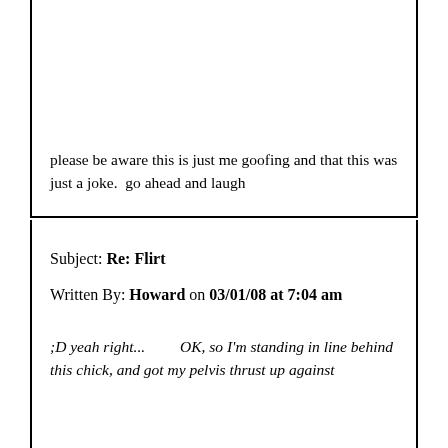please be aware this is just me goofing and that this was just a joke.  go ahead and laugh
Subject: Re: Flirt
Written By: Howard on 03/01/08 at 7:04 am
;D yeah right...         OK, so I'm standing in line behind this chick, and got my pelvis thrust up against